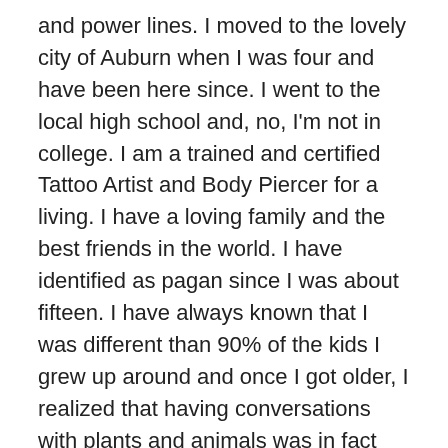and power lines. I moved to the lovely city of Auburn when I was four and have been here since. I went to the local high school and, no, I'm not in college. I am a trained and certified Tattoo Artist and Body Piercer for a living. I have a loving family and the best friends in the world. I have identified as pagan since I was about fifteen. I have always known that I was different than 90% of the kids I grew up around and once I got older, I realized that having conversations with plants and animals was in fact *not strange* and that there are others out there with similar stories and like minds.
This time last year I had been on the search for a teacher. What I found, the person, or being, or whatever you wish to name it, was not exactly what I had been searching for but I didn't know that yet. I was enchanted and charmed by a Rattle Snake, one you'll come to hear plenty about in